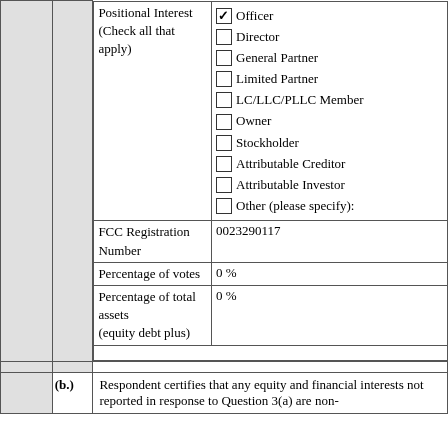| Positional Interest (Check all that apply) | ☑ Officer
☐ Director
☐ General Partner
☐ Limited Partner
☐ LC/LLC/PLLC Member
☐ Owner
☐ Stockholder
☐ Attributable Creditor
☐ Attributable Investor
☐ Other (please specify): |
| FCC Registration Number | 0023290117 |
| Percentage of votes | 0 % |
| Percentage of total assets (equity debt plus) | 0 % |
(b.)
Respondent certifies that any equity and financial interests not reported in response to Question 3(a) are non-